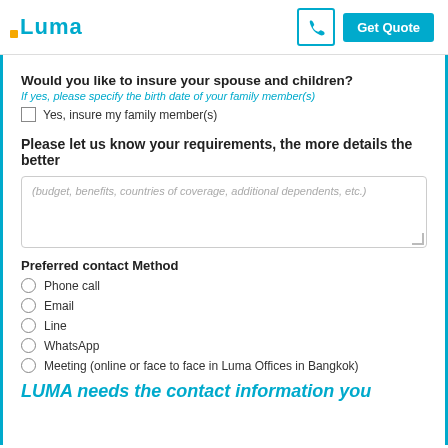Luma | Get Quote
Would you like to insure your spouse and children?
If yes, please specify the birth date of your family member(s)
Yes, insure my family member(s)
Please let us know your requirements, the more details the better
(budget, benefits, countries of coverage, additional dependents, etc.)
Preferred contact Method
Phone call
Email
Line
WhatsApp
Meeting (online or face to face in Luma Offices in Bangkok)
LUMA needs the contact information you...